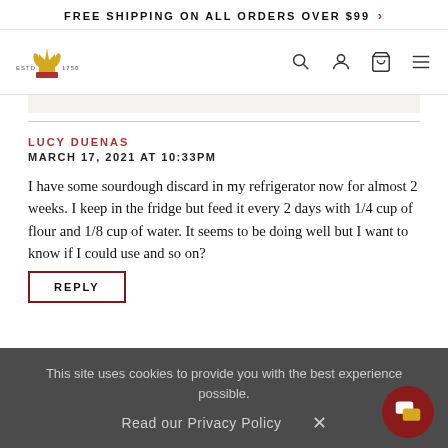FREE SHIPPING ON ALL ORDERS OVER $99 >
[Figure (logo): Brand logo with crown/wheat icon, ESTD 1750 text]
LUCY DUENAS
MARCH 17, 2021 AT 10:33PM

I have some sourdough discard in my refrigerator now for almost 2 weeks. I keep in the fridge but feed it every 2 days with 1/4 cup of flour and 1/8 cup of water. It seems to be doing well but I want to know if I could use and so on?
This site uses cookies to provide you with the best experience possible.
Read our Privacy Policy  ×
REPLY